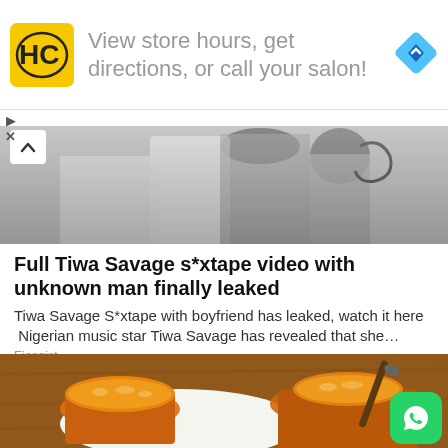[Figure (advertisement): HC salon logo ad banner: yellow square logo with HC text, ad text 'View store hours, get directions, or call your salon!', blue diamond navigation icon on right]
[Figure (photo): Black and white photo strip showing a person in white clothing, partially visible]
Full Tiwa Savage s*xtape video with unknown man finally leaked
Tiwa Savage S*xtape with boyfriend has leaked, watch it here  Nigerian music star Tiwa Savage has revealed that she…
Ejesgist
[Figure (photo): Photo of two glasses of orange/amber liquid (possibly juice or beer) on a white plate on a wooden surface, with a spoon visible]